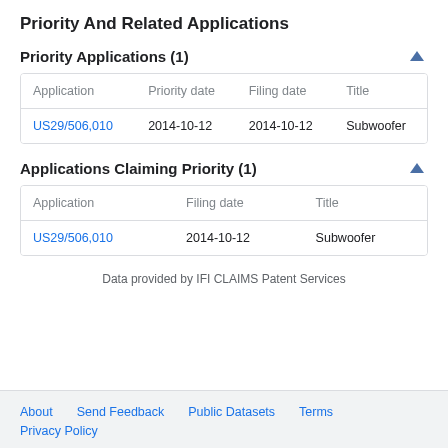Priority And Related Applications
Priority Applications (1)
| Application | Priority date | Filing date | Title |
| --- | --- | --- | --- |
| US29/506,010 | 2014-10-12 | 2014-10-12 | Subwoofer |
Applications Claiming Priority (1)
| Application | Filing date | Title |
| --- | --- | --- |
| US29/506,010 | 2014-10-12 | Subwoofer |
Data provided by IFI CLAIMS Patent Services
About  Send Feedback  Public Datasets  Terms  Privacy Policy